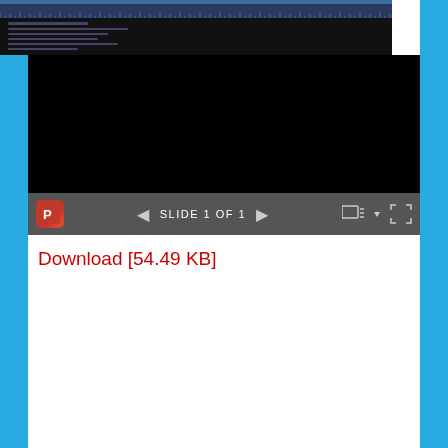[Figure (screenshot): PowerPoint viewer embedded in a webpage, showing a slide viewer with a dark/black slide content area, a top ruler strip with tick marks, and a navigation toolbar at the bottom with PowerPoint icon, left/right arrows, 'SLIDE 1 OF 1' text, menu icon, and fullscreen icon.]
Download [54.49 KB]